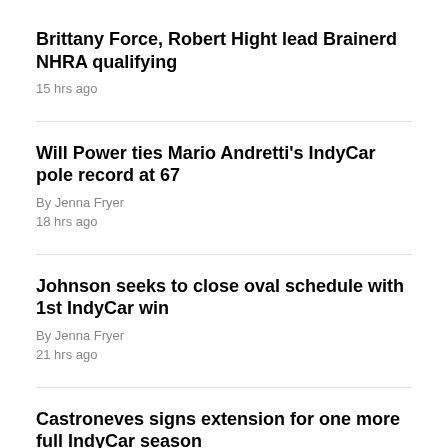Brittany Force, Robert Hight lead Brainerd NHRA qualifying
15 hrs ago
Will Power ties Mario Andretti's IndyCar pole record at 67
By Jenna Fryer
18 hrs ago
Johnson seeks to close oval schedule with 1st IndyCar win
By Jenna Fryer
21 hrs ago
Castroneves signs extension for one more full IndyCar season
By Jenna Fryer
22 hrs ago
Larson looking forward to racing Raikkonen at...